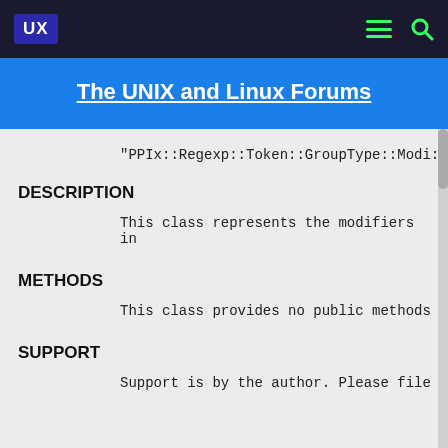UX
The UNIX and Linux Forums
"PPIx::Regexp::Token::GroupType::Modi:
DESCRIPTION
This class represents the modifiers in
METHODS
This class provides no public methods
SUPPORT
Support is by the author. Please file